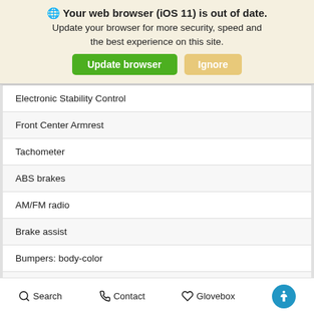🌐 Your web browser (iOS 11) is out of date. Update your browser for more security, speed and the best experience on this site. [Update browser] [Ignore]
| Electronic Stability Control |
| Front Center Armrest |
| Tachometer |
| ABS brakes |
| AM/FM radio |
| Brake assist |
| Bumpers: body-color |
| CD... |
Search   Contact   Glovebox   [accessibility icon]